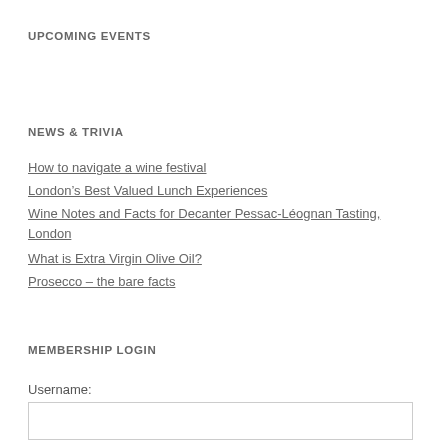UPCOMING EVENTS
NEWS & TRIVIA
How to navigate a wine festival
London's Best Valued Lunch Experiences
Wine Notes and Facts for Decanter Pessac-Léognan Tasting, London
What is Extra Virgin Olive Oil?
Prosecco – the bare facts
MEMBERSHIP LOGIN
Username: